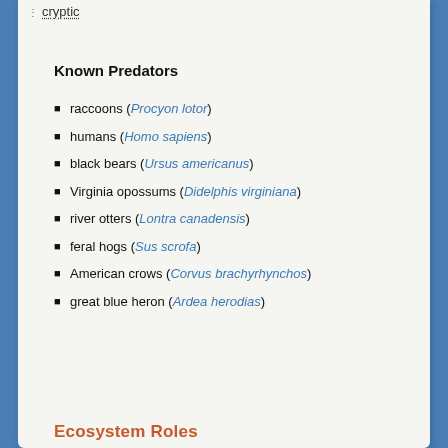cryptic
Known Predators
raccoons (Procyon lotor)
humans (Homo sapiens)
black bears (Ursus americanus)
Virginia opossums (Didelphis virginiana)
river otters (Lontra canadensis)
feral hogs (Sus scrofa)
American crows (Corvus brachyrhynchos)
great blue heron (Ardea herodias)
Ecosystem Roles